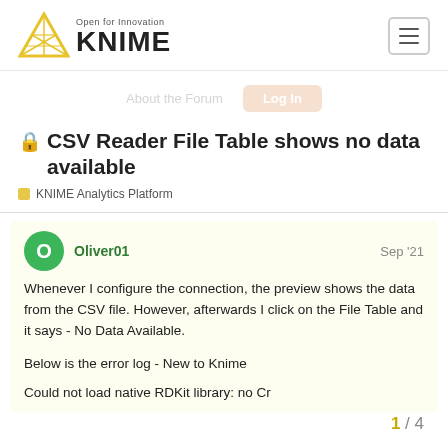Open for Innovation KNIME
About the Forum  Log In
🔒 CSV Reader File Table shows no data available
KNIME Analytics Platform
Oliver01  Sep '21
Whenever I configure the connection, the preview shows the data from the CSV file. However, afterwards I click on the File Table and it says - No Data Available.
Below is the error log - New to Knime
Could not load native RDKit library: no Cr
1 / 4